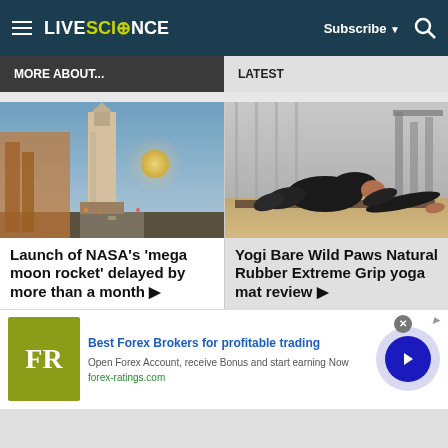LIVE SCIENCE — Subscribe | Search
MORE ABOUT...
LATEST
[Figure (photo): NASA mega moon rocket on launch pad at night with moon visible in background]
Launch of NASA's 'mega moon rocket' delayed by more than a month ▶
[Figure (photo): Person doing yoga pose (child's pose variation) on a mat in a gym setting]
Yogi Bare Wild Paws Natural Rubber Extreme Grip yoga mat review ▶
Best Forex Brokers for profitable trading
Open Forex Account, receive Bonus and start earning Now
forex-ratings.com